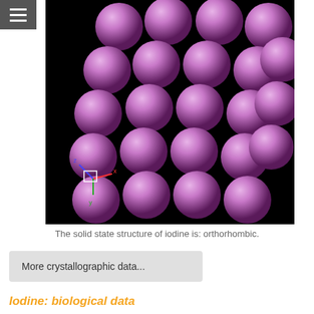[Figure (illustration): 3D space-filling model of iodine crystal structure showing purple/pink spheres (iodine atoms) arranged in orthorhombic lattice on black background, with xyz axis indicator in lower left corner.]
The solid state structure of iodine is: orthorhombic.
More crystallographic data...
Iodine: biological data